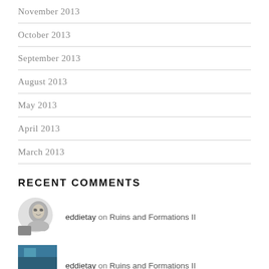November 2013
October 2013
September 2013
August 2013
May 2013
April 2013
March 2013
RECENT COMMENTS
eddietay on Ruins and Formations II
eddietay on Ruins and Formations II